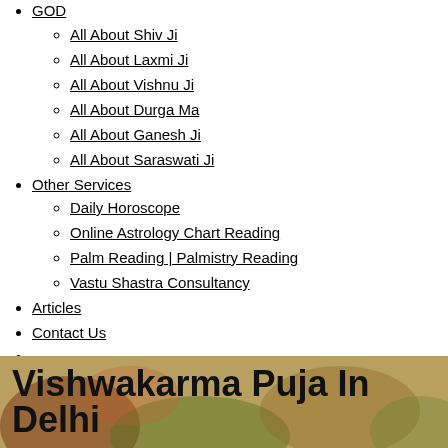GOD
All About Shiv Ji
All About Laxmi Ji
All About Vishnu Ji
All About Durga Ma
All About Ganesh Ji
All About Saraswati Ji
Other Services
Daily Horoscope
Online Astrology Chart Reading
Palm Reading | Palmistry Reading
Vastu Shastra Consultancy
Articles
Contact Us
Search products…
Search Your Puja
[Figure (photo): Banner image with text 'Vishwakarma Puja In Delhi' overlaid on a floral background]